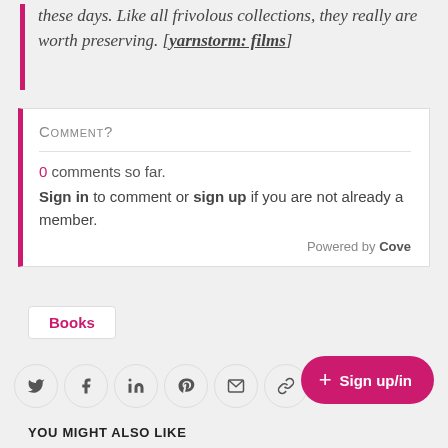these days. Like all frivolous collections, they really are worth preserving. [yarnstorm: films]
Comment?
0 comments so far. Sign in to comment or sign up if you are not already a member. Powered by Cove
Books
[Figure (infographic): Social sharing icons: Twitter, Facebook, LinkedIn, Pinterest, Email, Link; plus a pink Sign up/in button]
YOU MIGHT ALSO LIKE